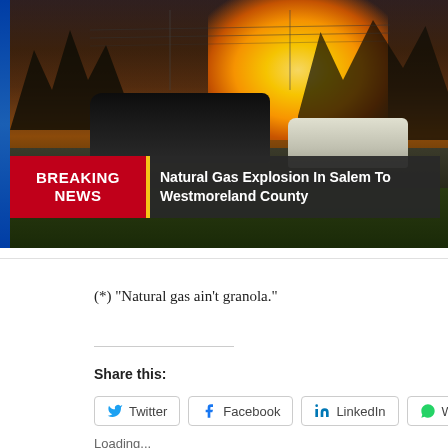[Figure (screenshot): Breaking news TV screenshot showing a large explosion/fireball in the sky at dusk, with cars on a road and trees silhouetted. A breaking news banner reads: BREAKING NEWS | Natural Gas Explosion In Salem To[wnship] Westmoreland County]
(*) "Natural gas ain't granola."
Share this:
Twitter  Facebook  LinkedIn  WhatsApp  Redd[it]
Loading...